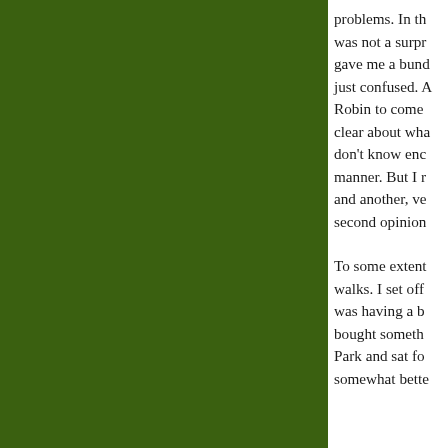[Figure (other): Large dark olive/forest green rectangular panel occupying the left ~73% of the page]
problems. In th was not a surpr gave me a bund just confused. A Robin to come clear about wha don't know enc manner. But I r and another, ve second opinion To some extent walks. I set off was having a b bought someth Park and sat fo somewhat bette